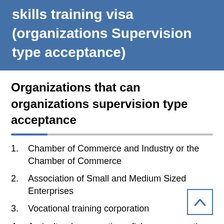skills training visa (organizations Supervision type acceptance)
Organizations that can organizations supervision type acceptance
1. Chamber of Commerce and Industry or the Chamber of Commerce
2. Association of Small and Medium Sized Enterprises
3. Vocational training corporation
4. Agricultural cooperatives, fishery cooperatives